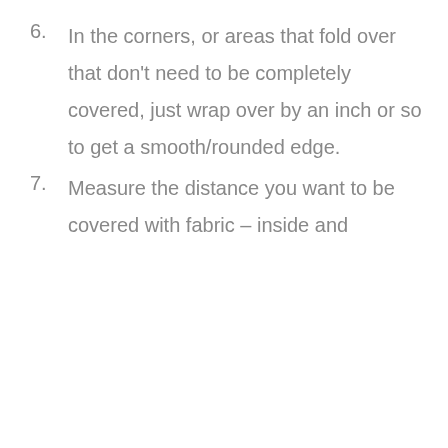6. In the corners, or areas that fold over that don't need to be completely covered, just wrap over by an inch or so to get a smooth/rounded edge.
7. Measure the distance you want to be covered with fabric – inside and